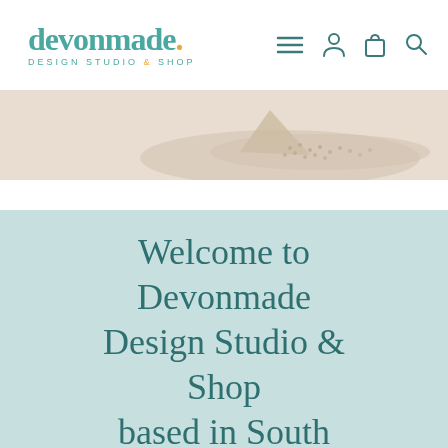[Figure (logo): Devonmade Design Studio & Shop logo — teal cursive text with orange dot, teal uppercase subtitle]
[Figure (illustration): Navigation icons: hamburger menu, user/account icon, shopping bag icon, search magnifier icon]
[Figure (photo): Hero banner image strip showing a beige/cream fabric or textile item on a light background]
Welcome to Devonmade Design Studio & Shop based in South Devon